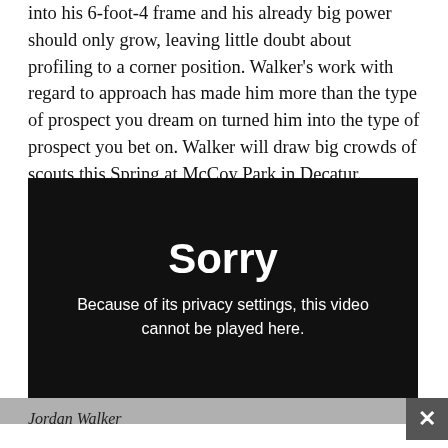into his 6-foot-4 frame and his already big power should only grow, leaving little doubt about profiling to a corner position. Walker's work with regard to approach has made him more than the type of prospect you dream on turned him into the type of prospect you bet on. Walker will draw big crowds of scouts this Spring at McCoy Park in Decatur.
[Figure (screenshot): Embedded video player showing error message: 'Sorry — Because of its privacy settings, this video cannot be played here.' Black background with white text.]
Jordan Walker